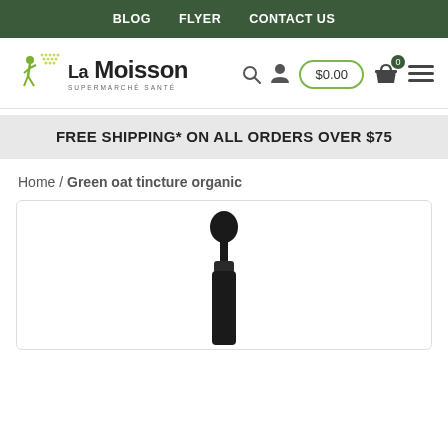BLOG  FLYER  CONTACT US
[Figure (logo): La Moisson Supermarché Santé logo with green figure and dot pattern]
$0.00
FREE SHIPPING* ON ALL ORDERS OVER $75
Home / Green oat tincture organic
[Figure (photo): Product photo showing top of a dark dropper bottle against white background]